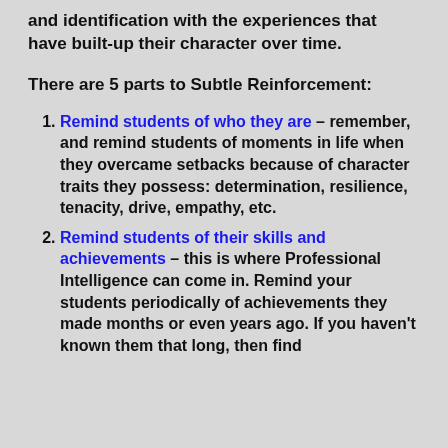and identification with the experiences that have built-up their character over time.
There are 5 parts to Subtle Reinforcement:
Remind students of who they are – remember, and remind students of moments in life when they overcame setbacks because of character traits they possess: determination, resilience, tenacity, drive, empathy, etc.
Remind students of their skills and achievements – this is where Professional Intelligence can come in. Remind your students periodically of achievements they made months or even years ago. If you haven't known them that long, then find